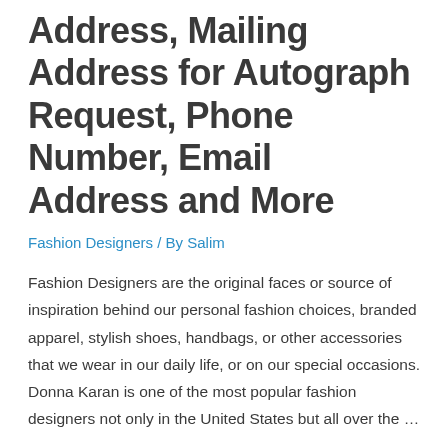Address, Mailing Address for Autograph Request, Phone Number, Email Address and More
Fashion Designers / By Salim
Fashion Designers are the original faces or source of inspiration behind our personal fashion choices, branded apparel, stylish shoes, handbags, or other accessories that we wear in our daily life, or on our special occasions. Donna Karan is one of the most popular fashion designers not only in the United States but all over the …
Read More »
Calvin Klein Email Address